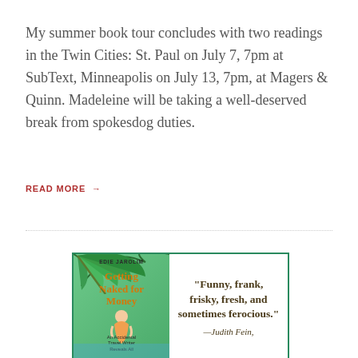My summer book tour concludes with two readings in the Twin Cities: St. Paul on July 7, 7pm at SubText, Minneapolis on July 13, 7pm, at Magers & Quinn. Madeleine will be taking a well-deserved break from spokesdog duties.
READ MORE →
[Figure (illustration): Advertisement box with green border showing a book cover for 'Getting Naked for Money: An Accidental Travel Writer Reveals All' by Edie Jarolim, alongside a pull quote: "Funny, frank, frisky, fresh, and sometimes ferocious." —Judith Fein]